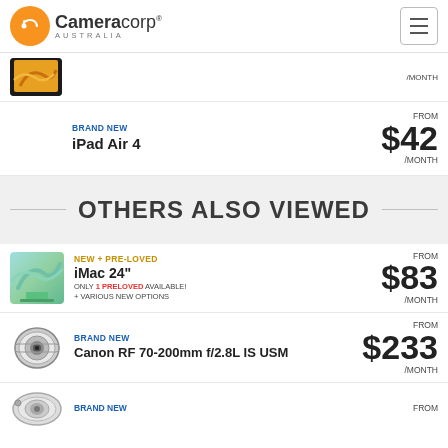Cameracorp AUSTRALIA
[Figure (screenshot): Partial product image at top — appears to be an iPad with yellow/orange gradient background, showing /MONTH price label]
BRAND NEW
iPad Air 4
FROM $42 /MONTH
OTHERS ALSO VIEWED
NEW + PRE-LOVED
iMac 24"
ONLY 1 PRELOVED AVAILABLE!
+ VARIOUS NEW OPTIONS
FROM $83 /MONTH
BRAND NEW
Canon RF 70-200mm f/2.8L IS USM
FROM $233 /MONTH
BRAND NEW
FROM